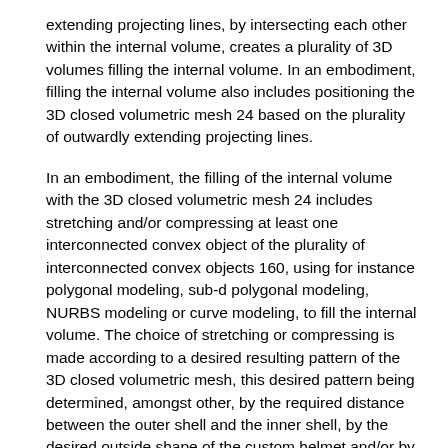extending projecting lines, by intersecting each other within the internal volume, creates a plurality of 3D volumes filling the internal volume. In an embodiment, filling the internal volume also includes positioning the 3D closed volumetric mesh 24 based on the plurality of outwardly extending projecting lines.
In an embodiment, the filling of the internal volume with the 3D closed volumetric mesh 24 includes stretching and/or compressing at least one interconnected convex object of the plurality of interconnected convex objects 160, using for instance polygonal modeling, sub-d polygonal modeling, NURBS modeling or curve modeling, to fill the internal volume. The choice of stretching or compressing is made according to a desired resulting pattern of the 3D closed volumetric mesh, this desired pattern being determined, amongst other, by the required distance between the outer shell and the inner shell, by the desired outside shape of the custom helmet and/or by internal contact surface shape considerations. In such an embodiment, simulated impact tests can be performed to optimize any one of the distance between the outer shell and the inner shell, the selection of the convex polyhedral